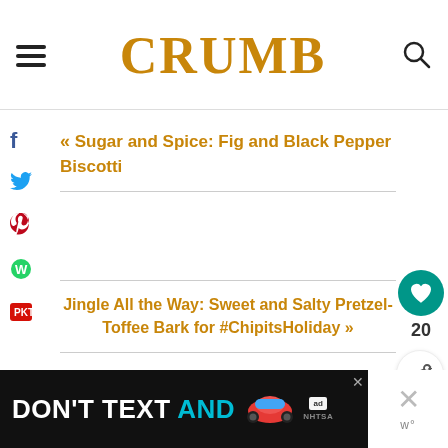CRUMB
« Sugar and Spice: Fig and Black Pepper Biscotti
Jingle All the Way: Sweet and Salty Pretzel-Toffee Bark for #ChipitsHoliday »
[Figure (screenshot): Advertisement banner: DON'T TEXT AND [car image] with ad/NHTSA badge]